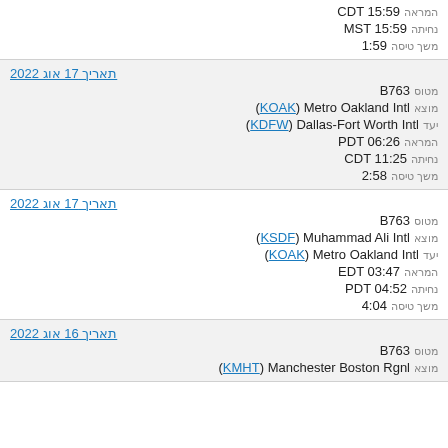המראה CDT 15:59
נחיתה MST 15:59
משך טיסה 1:59
תאריך 17 אוג 2022
מטוס B763
מוצא (KOAK) Metro Oakland Intl
יעד (KDFW) Dallas-Fort Worth Intl
המראה PDT 06:26
נחיתה CDT 11:25
משך טיסה 2:58
תאריך 17 אוג 2022
מטוס B763
מוצא (KSDF) Muhammad Ali Intl
יעד (KOAK) Metro Oakland Intl
המראה EDT 03:47
נחיתה PDT 04:52
משך טיסה 4:04
תאריך 16 אוג 2022
מטוס B763
מוצא (KMHT) Manchester Boston Rgnl